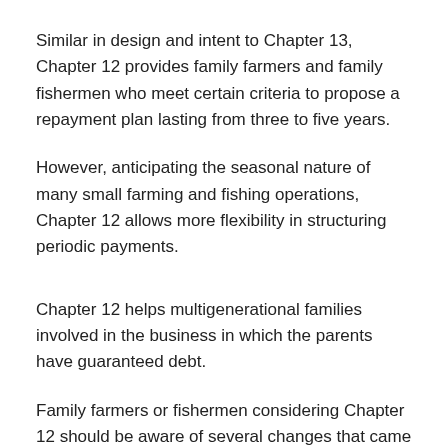Similar in design and intent to Chapter 13, Chapter 12 provides family farmers and family fishermen who meet certain criteria to propose a repayment plan lasting from three to five years.
However, anticipating the seasonal nature of many small farming and fishing operations, Chapter 12 allows more flexibility in structuring periodic payments.
Chapter 12 helps multigenerational families involved in the business in which the parents have guaranteed debt.
Family farmers or fishermen considering Chapter 12 should be aware of several changes that came about in 2019 regarding the sale of assets. Its a good idea to review these changes with an attorney or an accountant trained in